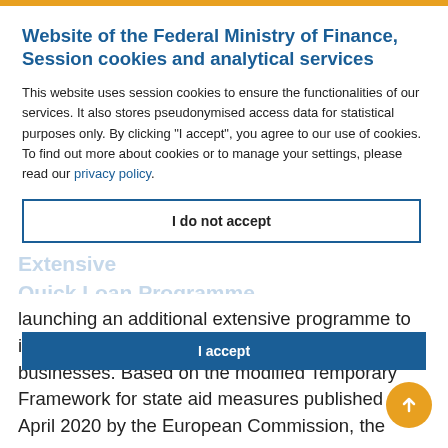Website of the Federal Ministry of Finance, Session cookies and analytical services
This website uses session cookies to ensure the functionalities of our services. It also stores pseudonymised access data for statistical purposes only. By clicking "I accept", you agree to our use of cookies. To find out more about cookies or to manage your settings, please read our privacy policy.
I do not accept
I accept
launching an additional extensive programme to its protective shield for small and medium-sized businesses. Based on the modified Temporary Framework for state aid measures published on April 2020 by the European Commission, the